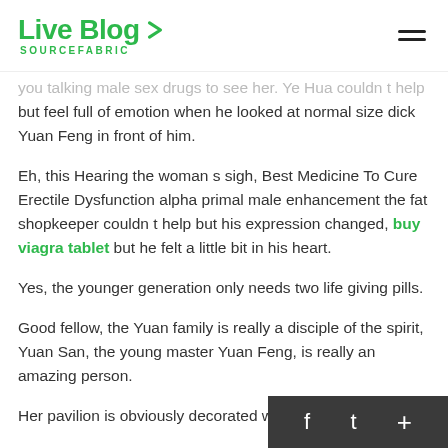Live Blog SOURCEFABRIC
you talking male sex drugs to see her. Ye Hua couldn t help but feel full of emotion when he looked at normal size dick Yuan Feng in front of him.
Eh, this Hearing the woman s sigh, Best Medicine To Cure Erectile Dysfunction alpha primal male enhancement the fat shopkeeper couldn t help but his expression changed, buy viagra tablet but he felt a little bit in his heart.
Yes, the younger generation only needs two life giving pills.
Good fellow, the Yuan family is really a disciple of the spirit, Yuan San, the young master Yuan Feng, is really an amazing person.
Her pavilion is obviously decorated with great ca